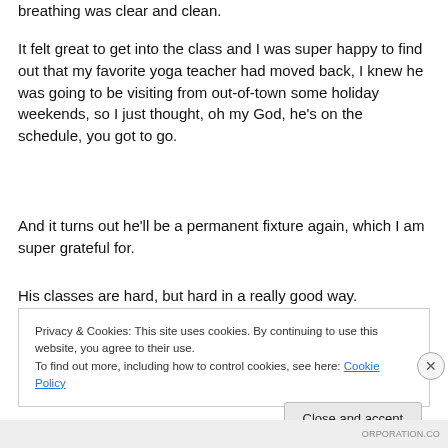breathing was clear and clean.
It felt great to get into the class and I was super happy to find out that my favorite yoga teacher had moved back, I knew he was going to be visiting from out-of-town some holiday weekends, so I just thought, oh my God, he's on the schedule, you got to go.
And it turns out he'll be a permanent fixture again, which I am super grateful for.
His classes are hard, but hard in a really good way.
Privacy & Cookies: This site uses cookies. By continuing to use this website, you agree to their use.
To find out more, including how to control cookies, see here: Cookie Policy
Close and accept